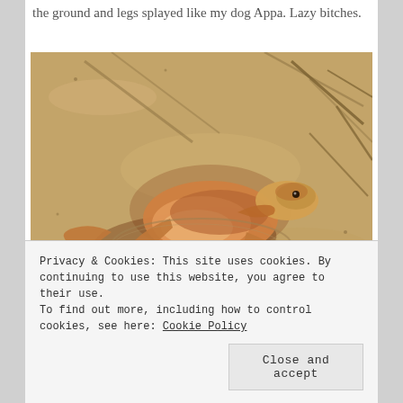the ground and legs splayed like my dog Appa. Lazy bitches.
[Figure (photo): A lizard lying flat on sandy ground with legs splayed out, photographed from above. The lizard has orange and brown coloring with its belly and legs pressed flat against the sand. Shadows and dry twigs are visible in the background.]
Privacy & Cookies: This site uses cookies. By continuing to use this website, you agree to their use.
To find out more, including how to control cookies, see here: Cookie Policy
Close and accept